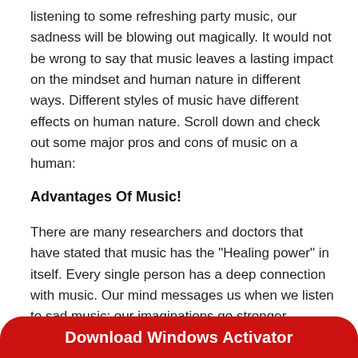listening to some refreshing party music, our sadness will be blowing out magically. It would not be wrong to say that music leaves a lasting impact on the mindset and human nature in different ways. Different styles of music have different effects on human nature. Scroll down and check out some major pros and cons of music on a human:
Advantages Of Music!
There are many researchers and doctors that have stated that music has the "Healing power" in itself. Every single person has a deep connection with music. Our mind messages us when we listen to sad music; our imaginations go stronger.
[Figure (other): Red rounded button with white text reading 'Download Windows Activator']